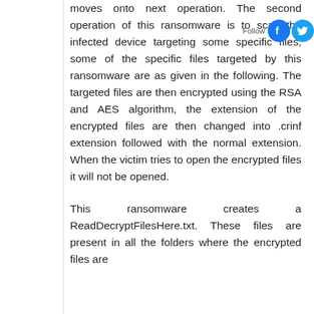moves onto next operation. The second operation of this ransomware is to scan the infected device targeting some specific files, some of the specific files targeted by this ransomware are as given in the following. The targeted files are then encrypted using the RSA and AES algorithm, the extension of the encrypted files are then changed into .crinf extension followed with the normal extension. When the victim tries to open the encrypted files it will not be opened.
This ransomware creates a ReadDecryptFilesHere.txt. These files are present in all the folders where the encrypted files are